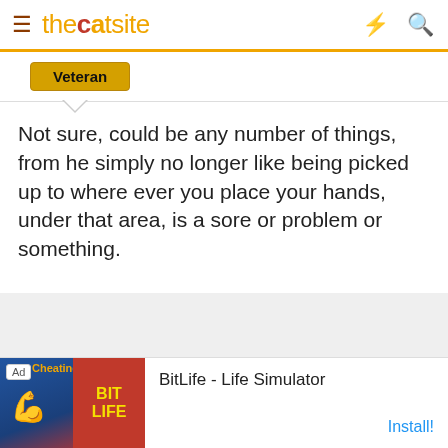thecatsite
Veteran
Not sure, could be any number of things, from he simply no longer like being picked up to where ever you place your hands, under that area, is a sore or problem or something.

I'd quit picking him up, and observe to see if he has other behavior changes (including litter box, food, etc.)
mimi507
[Figure (infographic): BitLife - Life Simulator advertisement banner with app icon showing muscle arm and red BitLife logo section]
BitLife - Life Simulator
Install!